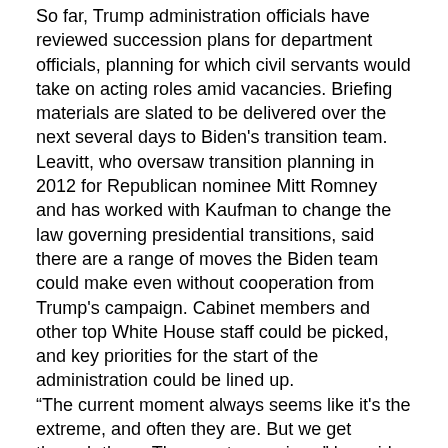So far, Trump administration officials have reviewed succession plans for department officials, planning for which civil servants would take on acting roles amid vacancies. Briefing materials are slated to be delivered over the next several days to Biden's transition team. Leavitt, who oversaw transition planning in 2012 for Republican nominee Mitt Romney and has worked with Kaufman to change the law governing presidential transitions, said there are a range of moves the Biden team could make even without cooperation from Trump's campaign. Cabinet members and other top White House staff could be picked, and key priorities for the start of the administration could be lined up. “The current moment always seems like it's the extreme, and often they are. But we get through them. The country survives,” he said. “The internal strength of the United States allows us to get through these things.” John Hudson contributed to this report.